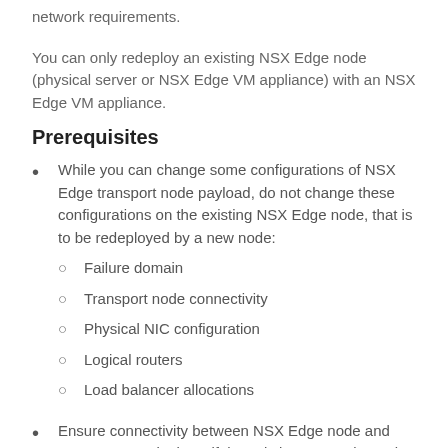network requirements.
You can only redeploy an existing NSX Edge node (physical server or NSX Edge VM appliance) with an NSX Edge VM appliance.
Prerequisites
While you can change some configurations of NSX Edge transport node payload, do not change these configurations on the existing NSX Edge node, that is to be redeployed by a new node:
Failure domain
Transport node connectivity
Physical NIC configuration
Logical routers
Load balancer allocations
Ensure connectivity between NSX Edge node and NSX Manager is down if the existing NSX Edgenode is a physical server or a manually deployed VM through